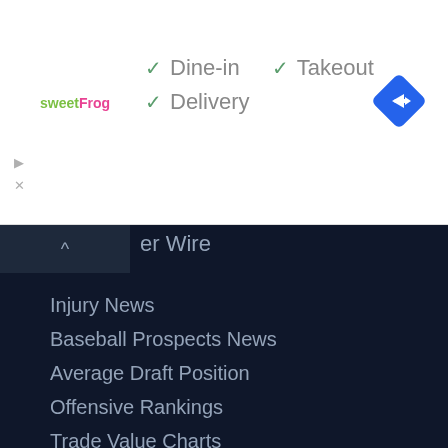[Figure (logo): sweetFrog logo in green and pink text]
✓ Dine-in
✓ Takeout
✓ Delivery
[Figure (illustration): Blue diamond shaped navigation/directions icon with white arrow]
er Wire
Injury News
Baseball Prospects News
Average Draft Position
Offensive Rankings
Trade Value Charts
Daily Projections
Weekly Projections
🟠 NHL
Fantasy Hockey Tools
Trade Analyzer
Start/Sit Tools